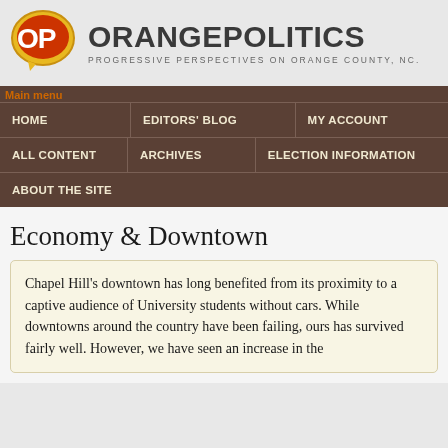[Figure (logo): OrangePolitics logo: speech bubble with OP letters in orange/red, followed by site name and tagline]
ORANGEPOLITICS
PROGRESSIVE PERSPECTIVES ON ORANGE COUNTY, NC.
Main menu
HOME
EDITORS' BLOG
MY ACCOUNT
ALL CONTENT
ARCHIVES
ELECTION INFORMATION
ABOUT THE SITE
Economy & Downtown
Chapel Hill's downtown has long benefited from its proximity to a captive audience of University students without cars. While downtowns around the country have been failing, ours has survived fairly well. However, we have seen an increase in the